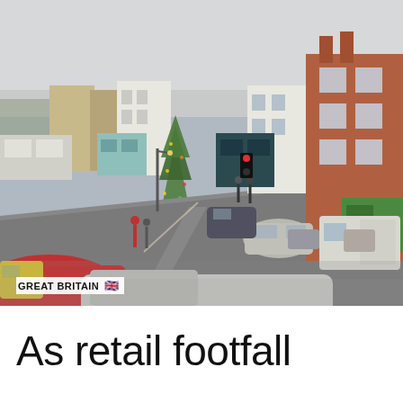[Figure (photo): Aerial view of a British high street town centre with shops, a Christmas tree in the town square, cars parked and driving, brick buildings on the right, pedestrians on the street.]
GREAT BRITAIN 🇬🇧
As retail footfall